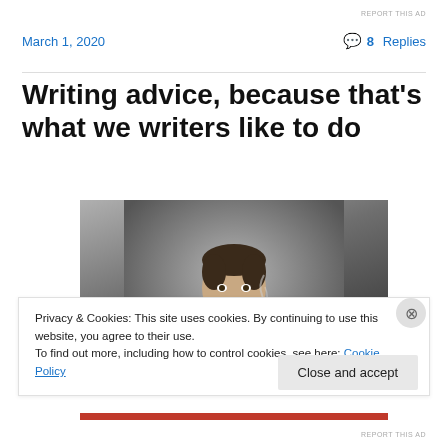REPORT THIS AD
March 1, 2020
💬 8 Replies
Writing advice, because that's what we writers like to do
[Figure (photo): Man in a white shirt and suspenders smoking a pipe, looking directly at the camera with a serious expression. Dark moody background with smoke rising.]
Privacy & Cookies: This site uses cookies. By continuing to use this website, you agree to their use.
To find out more, including how to control cookies, see here: Cookie Policy
REPORT THIS AD